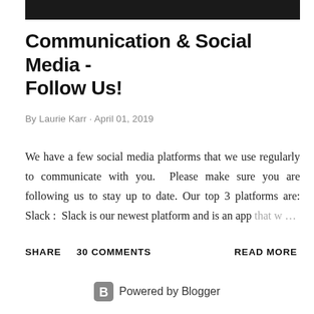Communication & Social Media - Follow Us!
By Laurie Karr · April 01, 2019
We have a few social media platforms that we use regularly to communicate with you.  Please make sure you are following us to stay up to date. Our top 3 platforms are: Slack :  Slack is our newest platform and is an app that w …
SHARE    30 COMMENTS    READ MORE
Powered by Blogger